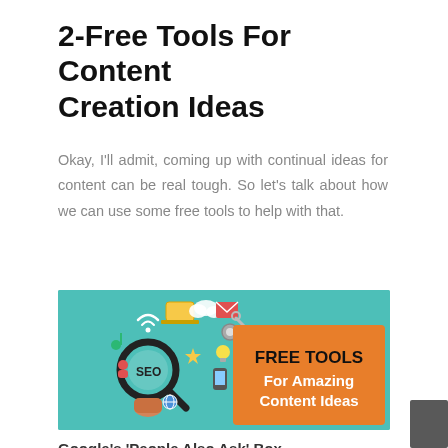2-Free Tools For Content Creation Ideas
Okay, I'll admit, coming up with continual ideas for content can be real tough. So let's talk about how we can use some free tools to help with that.
[Figure (infographic): Teal background infographic showing a hand holding a magnifying glass with 'SEO' label surrounded by digital/tech icons. An orange rectangle on the right displays 'FREE TOOLS For Amazing Content Ideas' in bold white and black text.]
Google's 'People Also Ask' Box